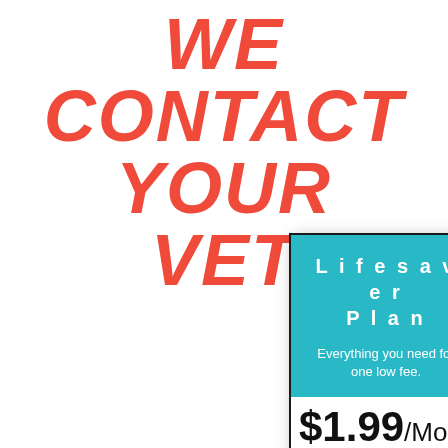WE CONTACT YOUR VET
Lifesaver Plan
Everything you need for one low fee.
$1.99/Month
30 day free trial*